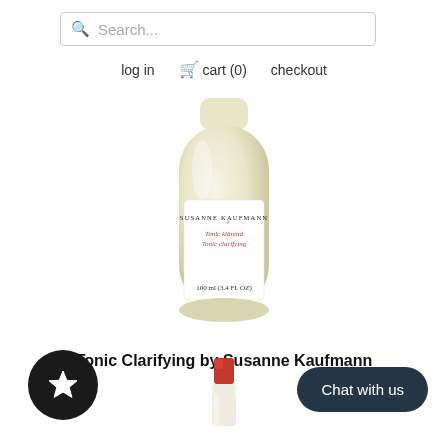Search...
log in  cart (0)  checkout
[Figure (photo): Product bottle of Susanne Kaufmann Tonic Clarifying, 100 ml (3.4 FL OZ), pale yellow liquid in clear rounded glass bottle with white label and red text]
Tonic Clarifying by Susanne Kaufmann
[Figure (illustration): Black circular button with white star icon (favorites button)]
[Figure (photo): Red lipstick product partially visible at bottom center]
Chat with us